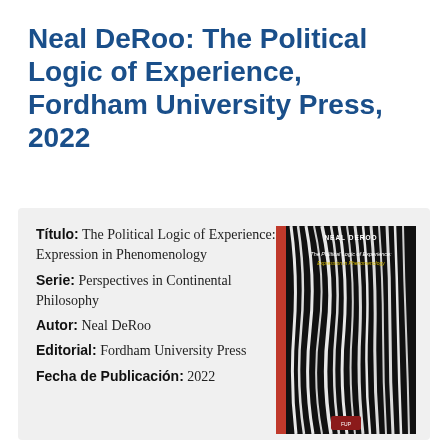Neal DeRoo: The Political Logic of Experience, Fordham University Press, 2022
Título: The Political Logic of Experience: Expression in Phenomenology
Serie: Perspectives in Continental Philosophy
Autor: Neal DeRoo
Editorial: Fordham University Press
Fecha de Publicación: 2022
[Figure (photo): Book cover of 'The Political Logic of Experience: Expression in Phenomenology' by Neal DeRoo. Dark cover with wavy black and white vertical stripes, red border on the left side, author name at top, title in yellow/white text.]